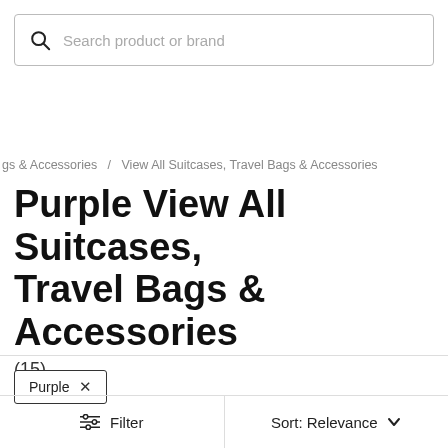[Figure (screenshot): Search bar with magnifying glass icon and placeholder text 'Search product or brand']
gs & Accessories  /  View All Suitcases, Travel Bags & Accessories
Purple View All Suitcases, Travel Bags & Accessories
(15)
Purple ×
Filter
Sort: Relevance